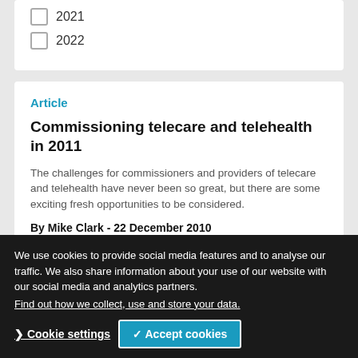2021
2022
Article
Commissioning telecare and telehealth in 2011
The challenges for commissioners and providers of telecare and telehealth have never been so great, but there are some exciting fresh opportunities to be considered.
By Mike Clark - 22 December 2010
We use cookies to provide social media features and to analyse our traffic. We also share information about your use of our website with our social media and analytics partners. Find out how we collect, use and store your data.
Telehealth monitoring in heart failure
Recently published trials on telehealth monitoring in heart failure